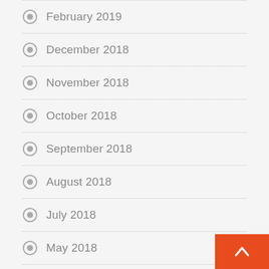February 2019
December 2018
November 2018
October 2018
September 2018
August 2018
July 2018
May 2018
March 2018